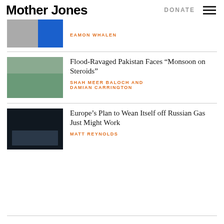Mother Jones | DONATE
EAMON WHALEN
Flood-Ravaged Pakistan Faces “Monsoon on Steroids”
SHAH MEER BALOCH AND DAMIAN CARRINGTON
Europe’s Plan to Wean Itself off Russian Gas Just Might Work
MATT REYNOLDS